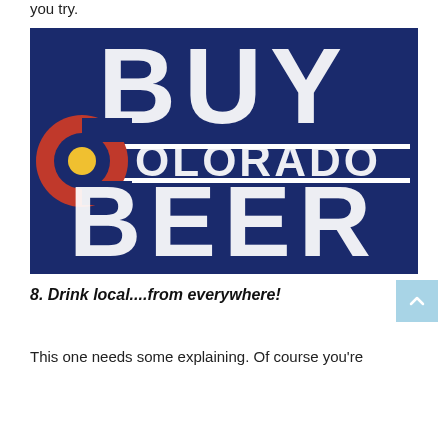you try.
[Figure (photo): A distressed navy blue sign with large white bold letters reading 'BUY COLORADO BEER'. The Colorado 'C' logo (red, yellow, blue circular symbol) replaces the 'C' in COLORADO. Two white horizontal lines flank the word COLORADO in the middle section.]
8. Drink local....from everywhere!
This one needs some explaining. Of course you're